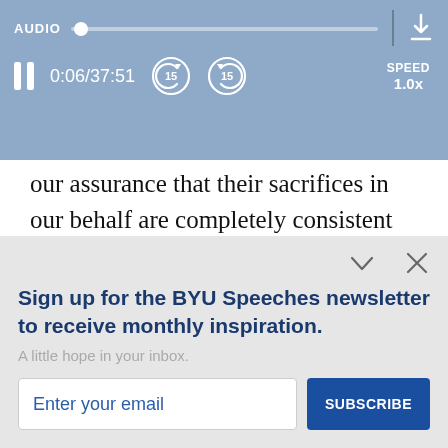[Figure (screenshot): Audio player bar with blue background showing AUDIO label, progress slider, pause button, time 0:06/37:51, skip back 15s, skip forward 15s, SPEED 1.0x, and download icon]
our assurance that their sacrifices in our behalf are completely consistent with the jointly agreed-upon mission and purposes of BYU.
While Church membership is not required...
Sign up for the BYU Speeches newsletter to receive monthly inspiration.
A little hope in your inbox.
Enter your email
SUBSCRIBE